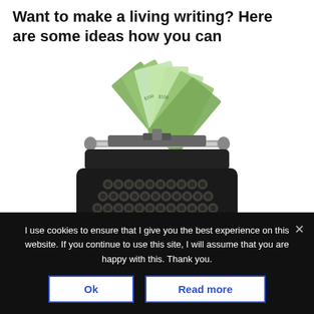Want to make a living writing? Here are some ideas how you can
[Figure (illustration): Illustration of a vintage black typewriter with fanned US dollar bills inserted in the paper slot, suggesting making money through writing.]
Make Money Writing
I use cookies to ensure that I give you the best experience on this website. If you continue to use this site, I will assume that you are happy with this. Thank you.